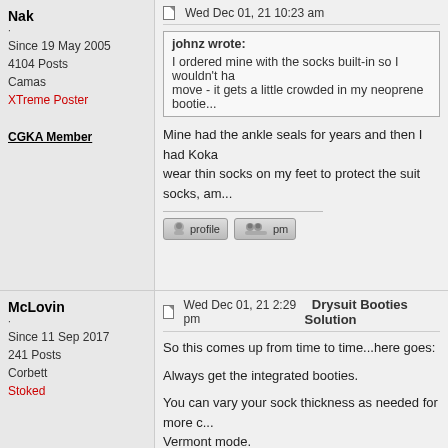Nak
.
Since 19 May 2005
4104 Posts
Camas
XTreme Poster
CGKA Member
Wed Dec 01, 21 10:23 am
johnz wrote:
I ordered mine with the socks built-in so I wouldn't ha... move - it gets a little crowded in my neoprene bootie...
Mine had the ankle seals for years and then I had Koka... wear thin socks on my feet to protect the suit socks, am...
McLovin
.
Since 11 Sep 2017
241 Posts
Corbett
Stoked
Wed Dec 01, 21 2:29 pm   Drysuit Booties Solution
So this comes up from time to time...here goes:

Always get the integrated booties.

You can vary your sock thickness as needed for more c... Vermont mode.

YES to Nak's comment BUY a set of booties a size big...

PRO TIP: Since your feet will be cozy in those dry sock...